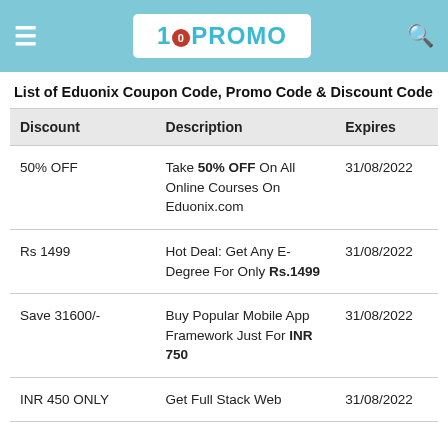10PROMO
List of Eduonix Coupon Code, Promo Code & Discount Code
| Discount | Description | Expires |
| --- | --- | --- |
| 50% OFF | Take 50% OFF On All Online Courses On Eduonix.com | 31/08/2022 |
| Rs 1499 | Hot Deal: Get Any E-Degree For Only Rs.1499 | 31/08/2022 |
| Save 31600/- | Buy Popular Mobile App Framework Just For INR 750 | 31/08/2022 |
| INR 450 ONLY | Get Full Stack Web | 31/08/2022 |